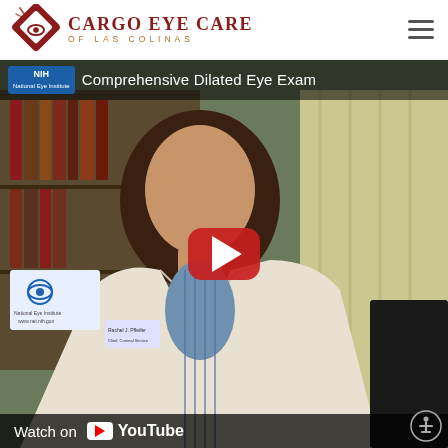CARGO EYE CARE OF LAS COLINAS
[Figure (screenshot): YouTube video thumbnail showing a female doctor in a white lab coat, bookshelf in background, with NIH branding. Title reads 'Comprehensive Dilated Eye Exam'. Red YouTube play button in center. 'Watch on YouTube' bar at bottom.]